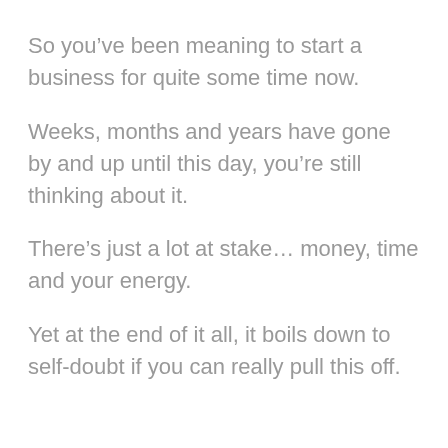So you've been meaning to start a business for quite some time now.
Weeks, months and years have gone by and up until this day, you're still thinking about it.
There's just a lot at stake… money, time and your energy.
Yet at the end of it all, it boils down to self-doubt if you can really pull this off.